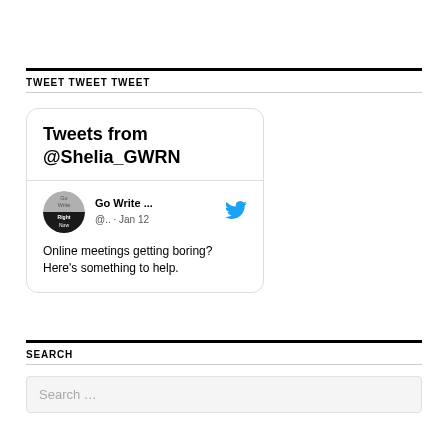TWEET TWEET TWEET
[Figure (screenshot): Twitter widget showing 'Tweets from @Shelia_GWRN' with a tweet from Go Write Right Now (@..) on Jan 12 saying 'Online meetings getting boring? Here's something to help.']
SEARCH
Search ...